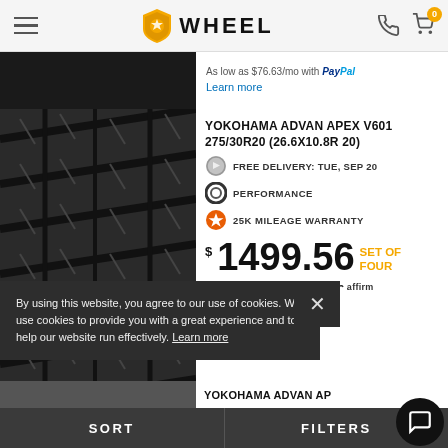WHEEL
As low as $76.63/mo with PayPal. Learn more
YOKOHAMA ADVAN APEX V601 275/30R20 (26.6X10.8R 20)
FREE DELIVERY: TUE, SEP 20
PERFORMANCE
25K MILEAGE WARRANTY
$1499.56 SET OF FOUR
STARTING AT $94/MO affirm
4.87/mo with PayPal.
By using this website, you agree to our use of cookies. We use cookies to provide you with a great experience and to help our website run effectively. Learn more
YOKOHAMA ADVAN AP...
SORT | FILTERS